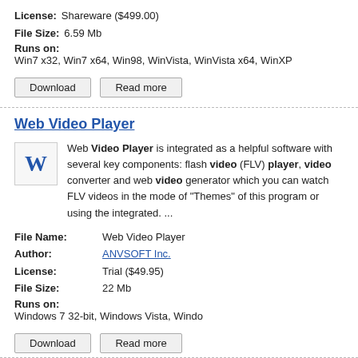License: Shareware ($499.00)
File Size: 6.59 Mb
Runs on: Win7 x32, Win7 x64, Win98, WinVista, WinVista x64, WinXP
Download | Read more
Web Video Player
Web Video Player is integrated as a helpful software with several key components: flash video (FLV) player, video converter and web video generator which you can watch FLV videos in the mode of "Themes" of this program or using the integrated. ...
File Name: Web Video Player
Author: ANVSOFT Inc.
License: Trial ($49.95)
File Size: 22 Mb
Runs on: Windows 7 32-bit, Windows Vista, Windo
Download | Read more